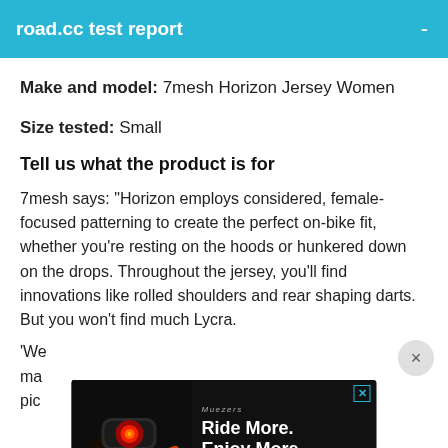road.cc test report
Make and model: 7mesh Horizon Jersey Women
Size tested: Small
Tell us what the product is for
7mesh says: "Horizon employs considered, female-focused patterning to create the perfect on-bike fit, whether you're resting on the hoods or hunkered down on the drops. Throughout the jersey, you'll find innovations like rolled shoulders and rear shaping darts. But you won't find much Lycra.
'We...ma...pic...
[Figure (screenshot): Advertisement banner showing a bike light with text 'Ride More. Enjoy More' on dark background]